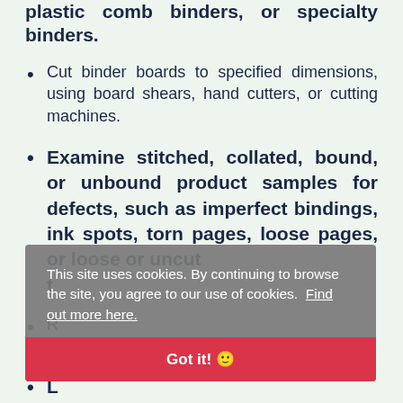plastic comb binders, or specialty binders.
Cut binder boards to specified dimensions, using board shears, hand cutters, or cutting machines.
Examine stitched, collated, bound, or unbound product samples for defects, such as imperfect bindings, ink spots, torn pages, loose pages, or loose or uncut t…
R… c…
L… machine parts to keep machines in working…
This site uses cookies. By continuing to browse the site, you agree to our use of cookies. Find out more here.
Got it! 🙂